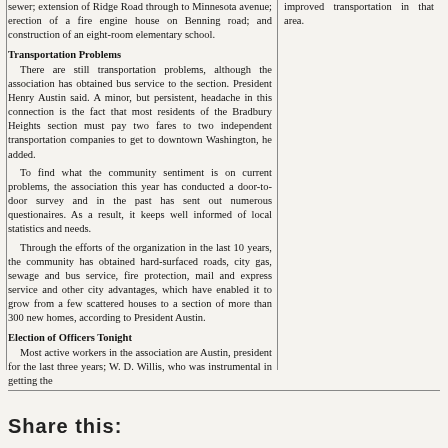sewer; extension of Ridge Road through to Minnesota avenue; erection of a fire engine house on Benning road; and construction of an eight-room elementary school.
Transportation Problems
There are still transportation problems, although the association has obtained bus service to the section. President Henry Austin said. A minor, but persistent, headache in this connection is the fact that most residents of the Bradbury Heights section must pay two fares to two independent transportation companies to get to downtown Washington, he added.
To find what the community sentiment is on current problems, the association this year has conducted a door-to-door survey and in the past has sent out numerous questionaires. As a result, it keeps well informed of local statistics and needs.
Through the efforts of the organization in the last 10 years, the community has obtained hard-surfaced roads, city gas, sewage and bus service, fire protection, mail and express service and other city advantages, which have enabled it to grow from a few scattered houses to a section of more than 300 new homes, according to President Austin.
Election of Officers Tonight
Most active workers in the association are Austin, president for the last three years; W. D. Willis, who was instrumental in getting the
improved transportation in that area.
Share this: